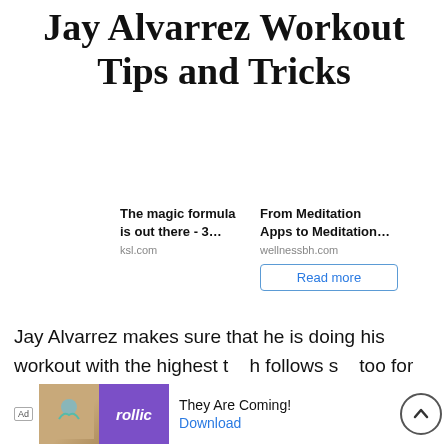Jay Alvarrez Workout Tips and Tricks
The magic formula is out there - 3…
ksl.com
From Meditation Apps to Meditation…
wellnessbh.com
Read more
Jay Alvarrez makes sure that he is doing his workout with the highest t… h follows s… too for
[Figure (screenshot): Ad banner with Rollic game app promotion showing 'They Are Coming!' text and Download button, with scroll-to-top button on right]